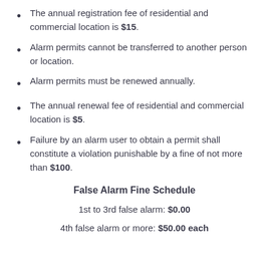The annual registration fee of residential and commercial location is $15.
Alarm permits cannot be transferred to another person or location.
Alarm permits must be renewed annually.
The annual renewal fee of residential and commercial location is $5.
Failure by an alarm user to obtain a permit shall constitute a violation punishable by a fine of not more than $100.
False Alarm Fine Schedule
1st to 3rd false alarm: $0.00
4th false alarm or more: $50.00 each